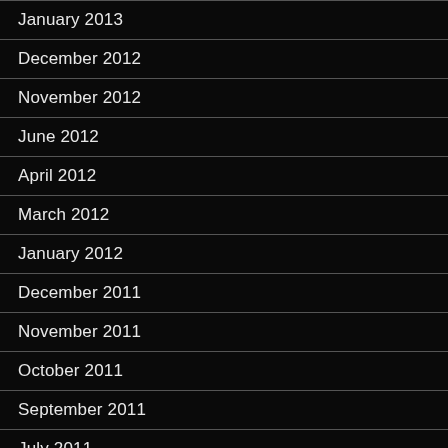January 2013
December 2012
November 2012
June 2012
April 2012
March 2012
January 2012
December 2011
November 2011
October 2011
September 2011
July 2011